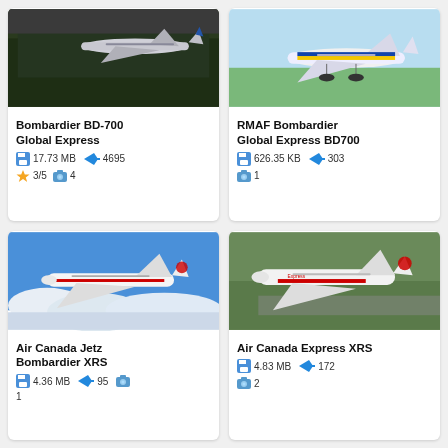[Figure (photo): Aerial photo of Bombardier BD-700 Global Express aircraft over forest]
Bombardier BD-700 Global Express
17.73 MB  4695  3/5  4
[Figure (photo): Photo of RMAF Bombardier Global Express BD700 aircraft on runway]
RMAF Bombardier Global Express BD700
626.35 KB  303  1
[Figure (photo): Air Canada Jetz Bombardier XRS aircraft flying above clouds]
Air Canada Jetz Bombardier XRS
4.36 MB  95  1
[Figure (photo): Air Canada Express XRS aircraft on ground]
Air Canada Express XRS
4.83 MB  172  2